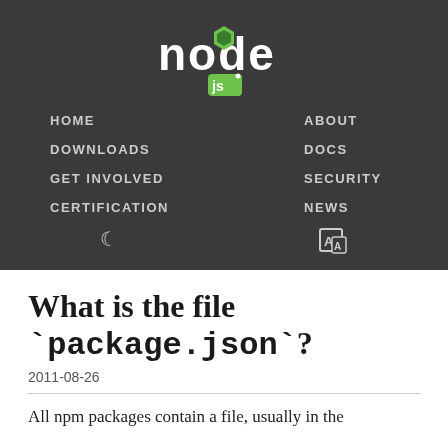[Figure (logo): Node.js logo with green hexagon and 'node' text in white, 'js' badge below]
HOME   ABOUT   DOWNLOADS   DOCS   GET INVOLVED   SECURITY   CERTIFICATION   NEWS
What is the file `package.json`?
2011-08-26
All npm packages contain a file, usually in the